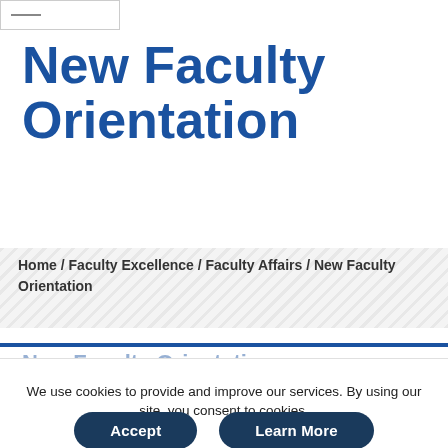—
New Faculty Orientation
Home / Faculty Excellence / Faculty Affairs / New Faculty Orientation
New Faculty Orientation
We use cookies to provide and improve our services. By using our site, you consent to cookies.
Accept
Learn More